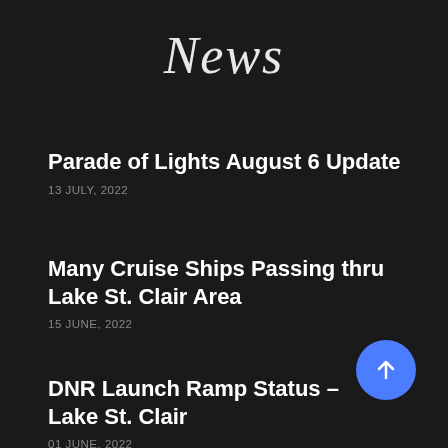News
Parade of Lights August 6 Update
13 JULY, 2022
Many Cruise Ships Passing thru Lake St. Clair Area
15 JUNE, 2022
DNR Launch Ramp Status – Lake St. Clair
01 JUNE, 2022